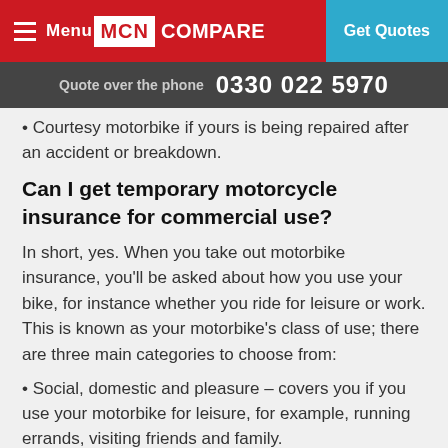Menu | MCN COMPARE | Get Quotes
Quote over the phone 0330 022 5970
• Courtesy motorbike if yours is being repaired after an accident or breakdown.
Can I get temporary motorcycle insurance for commercial use?
In short, yes. When you take out motorbike insurance, you'll be asked about how you use your bike, for instance whether you ride for leisure or work. This is known as your motorbike's class of use; there are three main categories to choose from:
• Social, domestic and pleasure – covers you if you use your motorbike for leisure, for example, running errands, visiting friends and family.